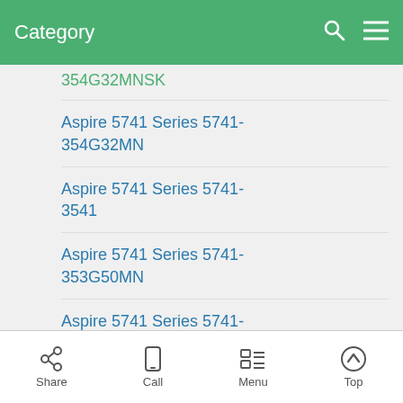Category
Aspire 5741 Series 5741-354G32MN
Aspire 5741 Series 5741-3541
Aspire 5741 Series 5741-353G50MN
Aspire 5741 Series 5741-353G32MN
Aspire 5741 Series 5741-353G25MNKK
Aspire 5741 Series 5741-352G32MN
Aspire 5741 Series 5741-...
Share  Call  Menu  Top